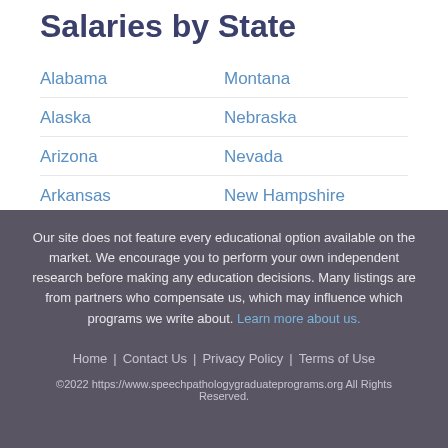Salaries by State
Alabama
Montana
Alaska
Nebraska
Arizona
Nevada
Arkansas
New Hampshire
California
New ...
Our site does not feature every educational option available on the market. We encourage you to perform your own independent research before making any education decisions. Many listings are from partners who compensate us, which may influence which programs we write about. Learn more about us.
Home | Contact Us | Privacy Policy | Terms of Use
©2022 https://www.speechpathologygraduateprograms.org All Rights Reserved.